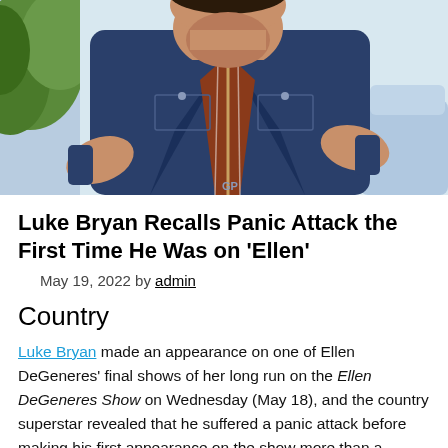[Figure (photo): Man in denim jacket gesturing with hands on a TV show set with green plants visible in background]
Luke Bryan Recalls Panic Attack the First Time He Was on 'Ellen'
May 19, 2022 by admin
Country
Luke Bryan made an appearance on one of Ellen DeGeneres' final shows of her long run on the Ellen DeGeneres Show on Wednesday (May 18), and the country superstar revealed that he suffered a panic attack before making his first appearance on the show more than a decade ago.